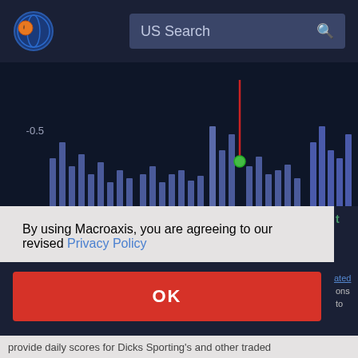[Figure (screenshot): Macroaxis website header with logo and US Search bar]
[Figure (bar-chart): Financial bar chart on dark background showing positive and negative bars around -0.5 to -1.0 on left axis and 0 to 2 on right axis, with Jul label on x-axis, a red vertical line with green dot indicator near center]
By using Macroaxis, you are agreeing to our revised Privacy Policy
OK
provide daily scores for Dicks Sporting's and other traded